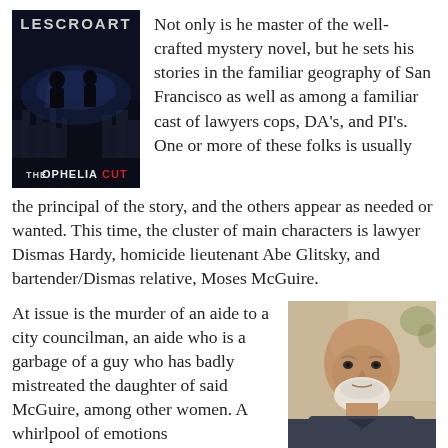[Figure (illustration): Book cover for 'The Ophelia Cut' by Lescroart, dark noir style with silhouetted figures against a city skyline background]
Not only is he master of the well-crafted mystery novel, but he sets his stories in the familiar geography of San Francisco as well as among a familiar cast of lawyers cops, DA's, and PI's. One or more of these folks is usually the principal of the story, and the others appear as needed or wanted. This time, the cluster of main characters is lawyer Dismas Hardy, homicide lieutenant Abe Glitsky, and bartender/Dismas relative, Moses McGuire.
At issue is the murder of an aide to a city councilman, an aide who is a garbage of a guy who has badly mistreated the daughter of said McGuire, among other women. A whirlpool of emotions
[Figure (photo): Author photo: older bald man with white beard wearing a dark shirt, photographed against a light background]